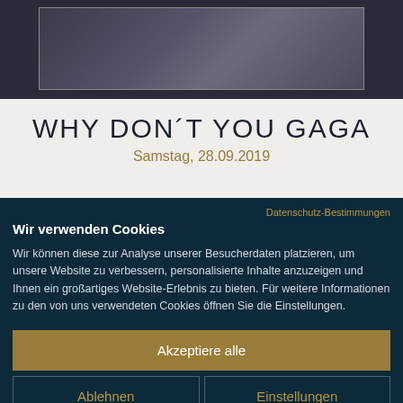[Figure (photo): Dark concert or event photo showing people, partially framed with a light border]
WHY DON´T YOU GAGA
Samstag, 28.09.2019
Datenschutz-Bestimmungen
Wir verwenden Cookies
Wir können diese zur Analyse unserer Besucherdaten platzieren, um unsere Website zu verbessern, personalisierte Inhalte anzuzeigen und Ihnen ein großartiges Website-Erlebnis zu bieten. Für weitere Informationen zu den von uns verwendeten Cookies öffnen Sie die Einstellungen.
Akzeptiere alle
Ablehnen
Einstellungen